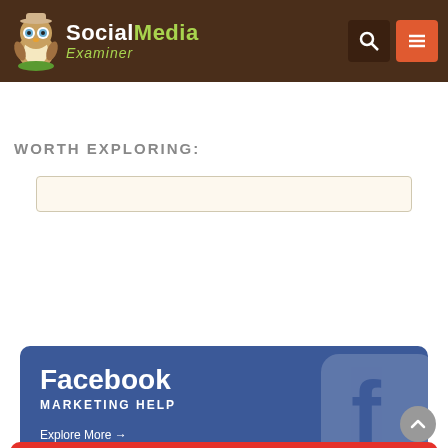[Figure (screenshot): Social Media Examiner website header with owl logo, search icon, and menu icon on brown background]
[Figure (screenshot): Search bar input field with beige/cream styling]
WORTH EXPLORING:
[Figure (infographic): Facebook Marketing Help banner card in blue with Facebook 'f' logo icon. Text: Facebook, MARKETING HELP, Explore More →]
[Figure (infographic): Instagram Marketing Help banner card with gradient background and Instagram camera icon. Text: Instagram, MARKETING HELP, Explore More →]